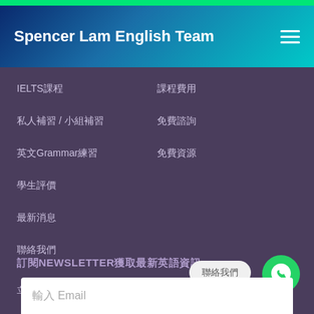Spencer Lam English Team
IELTS課程    課程費用
私人補習 / 小組補習    免費諮詢
英文Grammar練習    免費資源
學生評價
最新消息
聯絡我們
訂閱NEWSLETTER獲取最新英語資訊
立即訂閱，我們會定期發送最新英語學習資訊
輸入 Email